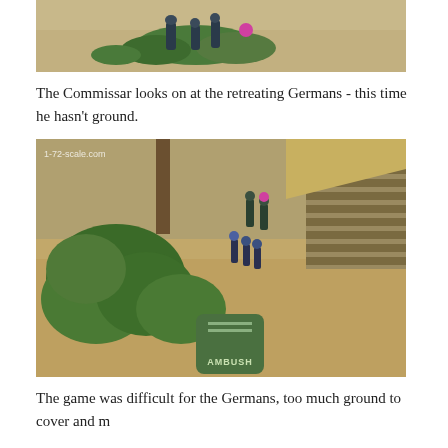[Figure (photo): Top portion of a photo showing painted miniature figurines (likely Soviet/WWII soldiers) on a sandy/gravel diorama base with green foliage, partially cropped at top of page.]
The Commissar looks on at the retreating Germans - this time he hasn't ground.
[Figure (photo): A 1-72-scale.com watermarked photo showing painted WWII miniature soldiers on a detailed diorama with green bushes/trees, a log building, sandy ground, and a green AMBUSH marker/dice in the foreground.]
The game was difficult for the Germans, too much ground to cover and m